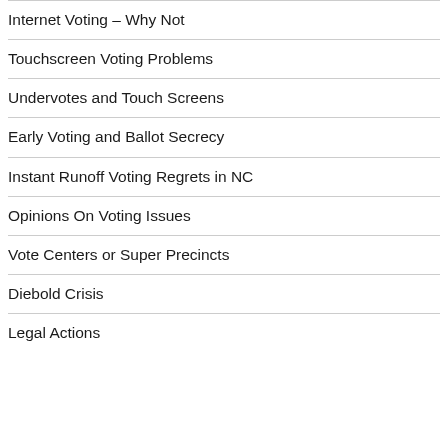Internet Voting – Why Not
Touchscreen Voting Problems
Undervotes and Touch Screens
Early Voting and Ballot Secrecy
Instant Runoff Voting Regrets in NC
Opinions On Voting Issues
Vote Centers or Super Precincts
Diebold Crisis
Legal Actions